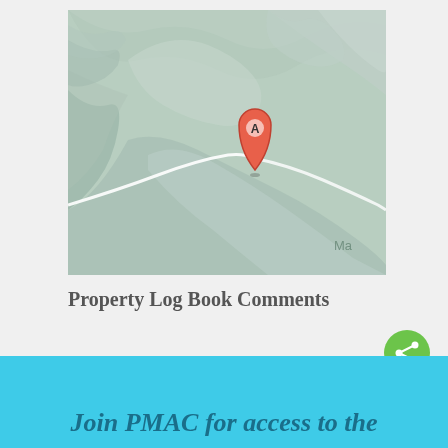[Figure (map): Topographic map showing mountainous terrain in muted sage green tones with a red map pin marker labeled 'A' indicating a property location. Partial text 'Ma' visible at lower right suggesting a place name.]
Property Log Book Comments
[Figure (other): Green circular share button icon with share/network symbol]
Join PMAC for access to the